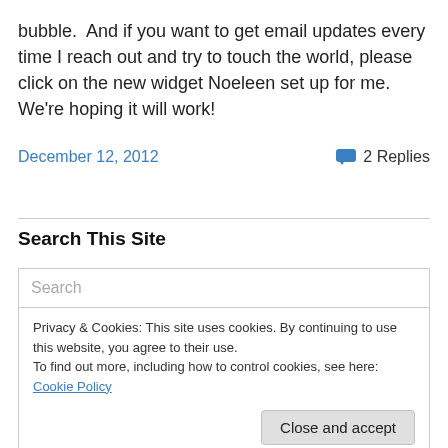bubble.  And if you want to get email updates every time I reach out and try to touch the world, please click on the new widget Noeleen set up for me.  We're hoping it will work!
December 12, 2012
2 Replies
Search This Site
Search
Privacy & Cookies: This site uses cookies. By continuing to use this website, you agree to their use.
To find out more, including how to control cookies, see here: Cookie Policy
Close and accept